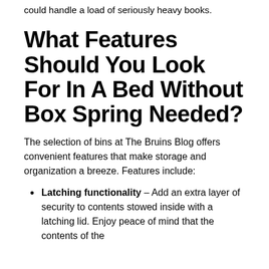could handle a load of seriously heavy books.
What Features Should You Look For In A Bed Without Box Spring Needed?
The selection of bins at The Bruins Blog offers convenient features that make storage and organization a breeze. Features include:
Latching functionality – Add an extra layer of security to contents stowed inside with a latching lid. Enjoy peace of mind that the contents of the